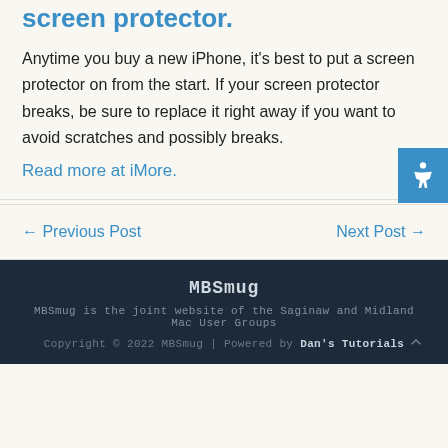screen protector.
Anytime you buy a new iPhone, it's best to put a screen protector on from the start. If your screen protector breaks, be sure to replace it right away if you want to avoid scratches and possibly breaks.
Read more at iMore.
← Previous Post
Next Post →
MBSmug
MBSmug is the joint website of the Saginaw and Midland Mac User Groups
Copyright © 2022 MBSmug | Powered by Dan's Tutorials